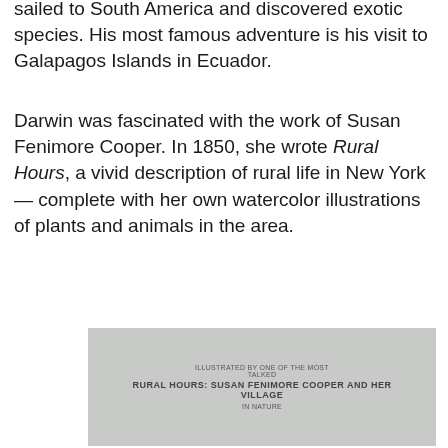sailed to South America and discovered exotic species. His most famous adventure is his visit to Galapagos Islands in Ecuador.
Darwin was fascinated with the work of Susan Fenimore Cooper. In 1850, she wrote Rural Hours, a vivid description of rural life in New York — complete with her own watercolor illustrations of plants and animals in the area.
[Figure (photo): A partially visible image with gray background and faint overlaid text suggesting a book or illustration reference.]